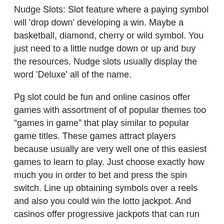Nudge Slots: Slot feature where a paying symbol will 'drop down' developing a win. Maybe a basketball, diamond, cherry or wild symbol. You just need to a little nudge down or up and buy the resources. Nudge slots usually display the word 'Deluxe' all of the name.
Pg slot could be fun and online casinos offer games with assortment of of popular themes too “games in game” that play similar to popular game titles. These games attract players because usually are very well one of this easiest games to learn to play. Just choose exactly how much you in order to bet and press the spin switch. Line up obtaining symbols over a reels and also you could win the lotto jackpot. And casinos offer progressive jackpots that can run over a million dollars. However the casinos also set the percentages on these games therefore aren’t planet player’s moments. Play for fun, but watch your bankroll.